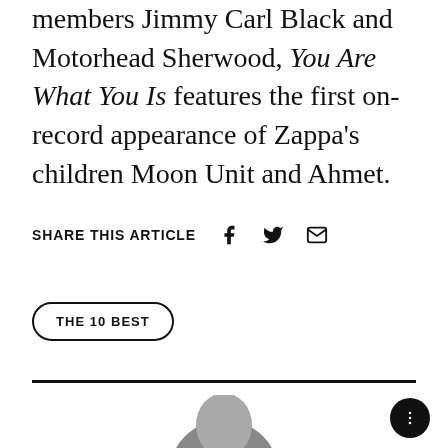members Jimmy Carl Black and Motorhead Sherwood, You Are What You Is features the first on-record appearance of Zappa's children Moon Unit and Ahmet.
SHARE THIS ARTICLE
THE 10 BEST
[Figure (photo): Bottom portion of a person's head/hair visible at bottom center of page]